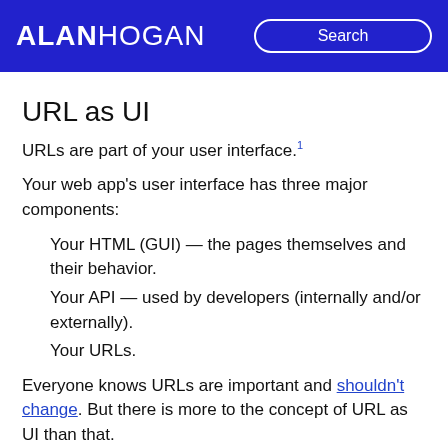ALAN HOGAN | Search
URL as UI
URLs are part of your user interface.¹
Your web app's user interface has three major components:
1. Your HTML (GUI) — the pages themselves and their behavior.
2. Your API — used by developers (internally and/or externally).
3. Your URLs.
Everyone knows URLs are important and shouldn't change. But there is more to the concept of URL as UI than that.